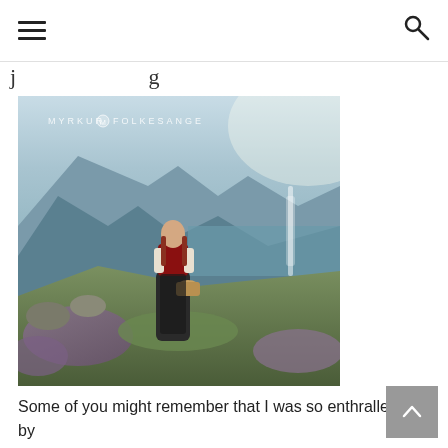hamburger menu | search icon
j g
[Figure (photo): Album cover for Myrkur - Folkesange. A young woman in traditional Norwegian bunad dress holding a basket, standing on a hillside with fjord and mountains in the background. Text 'MYRKUR ⊕ FOLKESANGE' visible in upper portion.]
Some of you might remember that I was so enthralled by